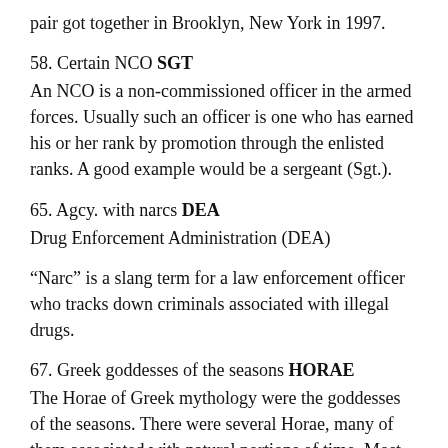pair got together in Brooklyn, New York in 1997.
58. Certain NCO SGT
An NCO is a non-commissioned officer in the armed forces. Usually such an officer is one who has earned his or her rank by promotion through the enlisted ranks. A good example would be a sergeant (Sgt.).
65. Agcy. with narcs DEA
Drug Enforcement Administration (DEA)
“Narc” is a slang term for a law enforcement officer who tracks down criminals associated with illegal drugs.
67. Greek goddesses of the seasons HORAE
The Horae of Greek mythology were the goddesses of the seasons. There were several Horae, many of them associated with natural portions of time. Most commonly there were three, and sometimes ten (later twelve) Hora...